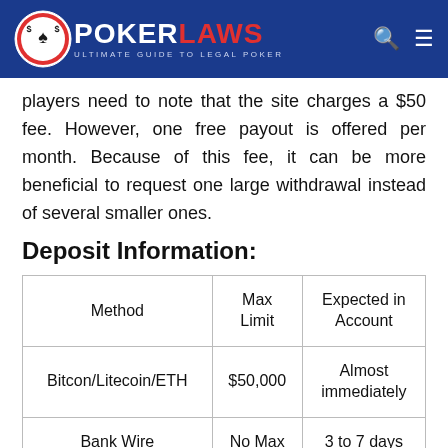POKERLAWS – Ultimate Guide To Legal Poker
players need to note that the site charges a $50 fee. However, one free payout is offered per month. Because of this fee, it can be more beneficial to request one large withdrawal instead of several smaller ones.
Deposit Information:
| Method | Max Limit | Expected in Account |
| --- | --- | --- |
| Bitcon/Litecoin/ETH | $50,000 | Almost immediately |
| Bank Wire | No Max | 3 to 7 days |
|  |  | Almost |